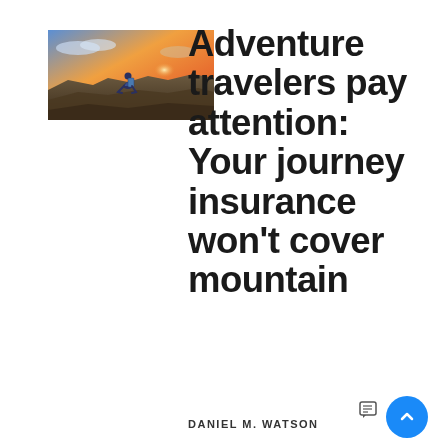[Figure (photo): A hiker with a backpack sitting on a rocky mountain peak at sunset, viewed from behind, with a dramatic sky.]
Adventure travelers pay attention: Your journey insurance won't cover mountain
DANIEL M. WATSON